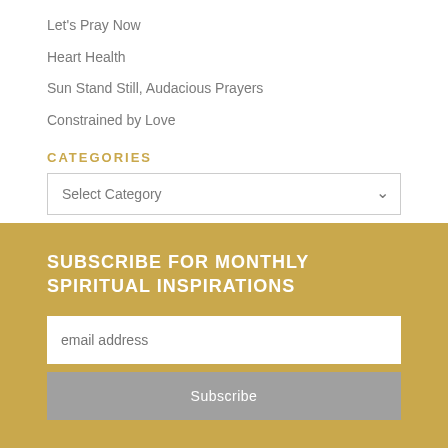Let's Pray Now
Heart Health
Sun Stand Still, Audacious Prayers
Constrained by Love
CATEGORIES
Select Category
SUBSCRIBE FOR MONTHLY SPIRITUAL INSPIRATIONS
email address
Subscribe